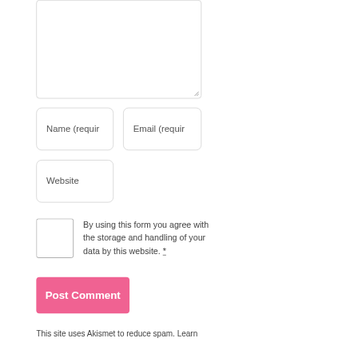[Figure (screenshot): Empty textarea input box with rounded corners and resize handle]
Name (requir
Email (requir
Website
By using this form you agree with the storage and handling of your data by this website. *
Post Comment
This site uses Akismet to reduce spam. Learn